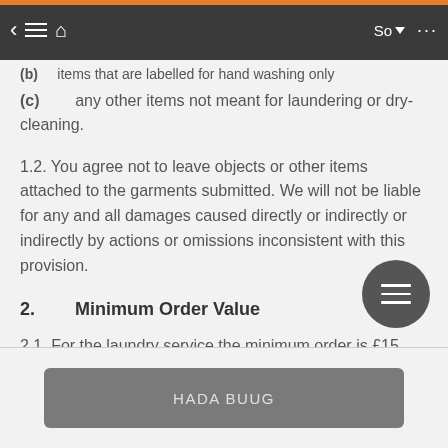(b) Items that are labelled for hand washing only
(c)    any other items not meant for laundering or dry-cleaning.
1.2.  You agree not to leave objects or other items attached to the garments submitted. We will not be liable for any and all damages caused directly or indirectly or indirectly by actions or omissions inconsistent with this provision.
2.        Minimum Order Value
2.1.  For the laundry service the minimum order is £15.
HADA BUUG